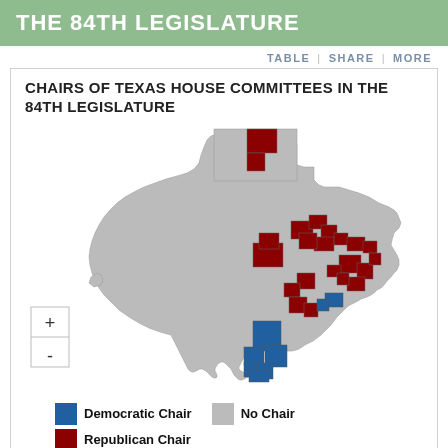THE 84TH LEGISLATURE
TABLE | SHARE | MORE
CHAIRS OF TEXAS HOUSE COMMITTEES IN THE 84TH LEGISLATURE
[Figure (map): Choropleth map of Texas House districts showing chairs of committees in the 84th Legislature. Districts are colored dark red for Republican Chair, blue for Democratic Chair, and gray for No Chair. Republican Chair districts are concentrated in central and northern Texas; Democratic Chair districts are in south Texas and parts of Houston area.]
Democratic Chair   No Chair
Republican Chair
Source: The Official Website of the Texas House of Representatives